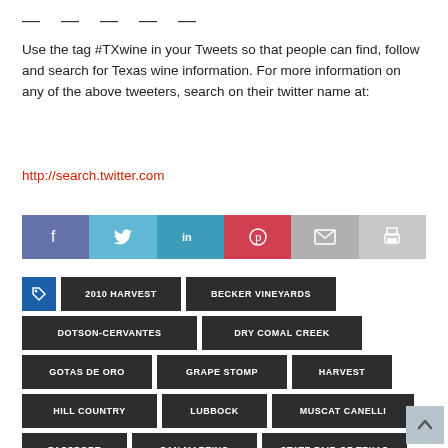— — — — —
Use the tag #TXwine in your Tweets so that people can find, follow and search for Texas wine information. For more information on any of the above tweeters, search on their twitter name at:
http://search.twitter.com
[Figure (infographic): Social media share buttons: Facebook (purple), Twitter (light blue), LinkedIn (teal), Pinterest (red), Email (gray), Print (light gray)]
2010 HARVEST
BECKER VINEYARDS
DOTSON-CERVANTES
DRY COMAL CREEK
GOTAS DE ORO
GRAPE STOMP
HARVEST
HILL COUNTRY
LUBBOCK
MUSCAT CANELLI
PASSPORT
SAN MARTINO
STATE FAIR OF TEXAS